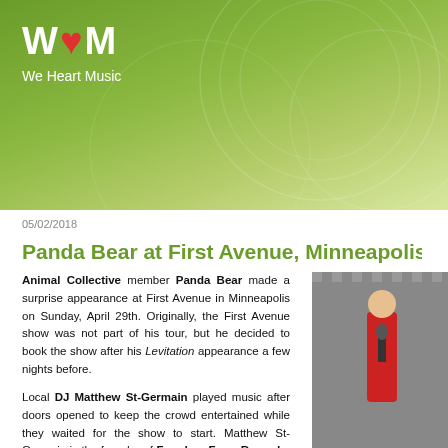W♥M We Heart Music
05/02/2018
Panda Bear at First Avenue, Minneapolis (29 A…
Animal Collective member Panda Bear made a surprise appearance at First Avenue in Minneapolis on Sunday, April 29th. Originally, the First Avenue show was not part of his tour, but he decided to book the show after his Levitation appearance a few nights before.
Local DJ Matthew St-Germain played music after doors opened to keep the crowd entertained while they waited for the show to start. Matthew St-Germain is the founder of Freedom From Records, and he demonstrated his love for the weird, loud crashes, spacey rock music on his DJ set. What I liked about St-Germain is that he actually uses vinyl records, instead of a laptop.... which only made sense, considering that Freedom From mostly release music on cassettes and vinyl.
[Figure (photo): Concert photo of performer on stage]